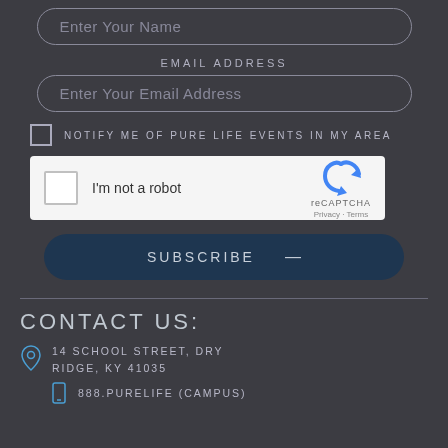Enter Your Name
EMAIL ADDRESS
Enter Your Email Address
NOTIFY ME OF PURE LIFE EVENTS IN MY AREA
[Figure (other): reCAPTCHA widget with checkbox labeled I'm not a robot, reCAPTCHA logo with Privacy and Terms links]
SUBSCRIBE —
CONTACT US:
14 SCHOOL STREET, DRY RIDGE, KY 41035
888.PURELIFE (CAMPUS)